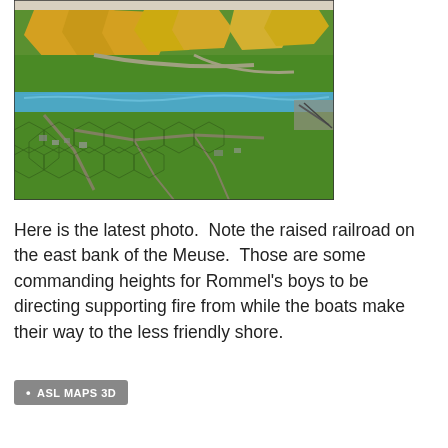[Figure (photo): A 3D physical terrain model/game board showing a detailed landscape with hexagonal tiles in yellow (hills), green (fields/woods), blue (river - the Meuse), and grey road/railroad sections. The model appears to be a wargame map, likely depicting the Meuse river crossing area.]
Here is the latest photo.  Note the raised railroad on the east bank of the Meuse.  Those are some commanding heights for Rommel's boys to be directing supporting fire from while the boats make their way to the less friendly shore.
ASL MAPS 3D